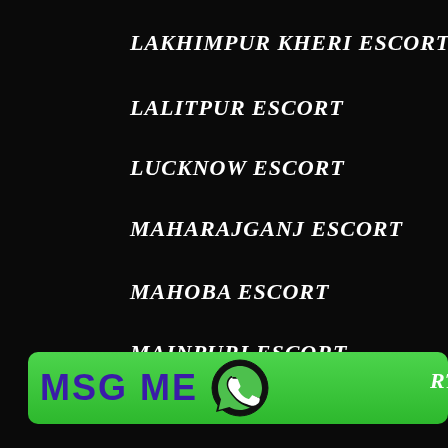LAKHIMPUR KHERI ESCORT
LALITPUR ESCORT
LUCKNOW ESCORT
MAHARAJGANJ ESCORT
MAHOBA ESCORT
MAINPURI ESCORT
[Figure (infographic): Green WhatsApp MSG ME button with WhatsApp logo icon]
[Figure (infographic): Black CALL NOW button with cyan phone icon]